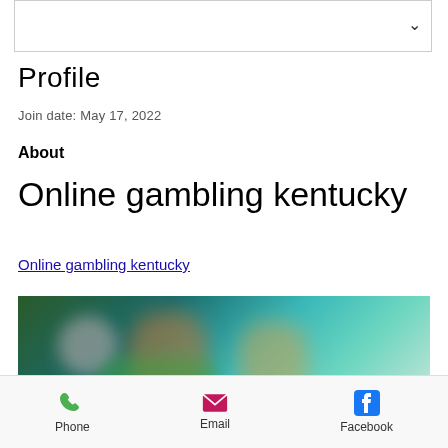[Figure (screenshot): Top collapsed UI box with a chevron/dropdown arrow on the right side]
Profile
Join date: May 17, 2022
About
Online gambling kentucky
Online gambling kentucky
[Figure (photo): Blurred image showing people or characters against a teal/green background, content is obscured]
Phone   Email   Facebook